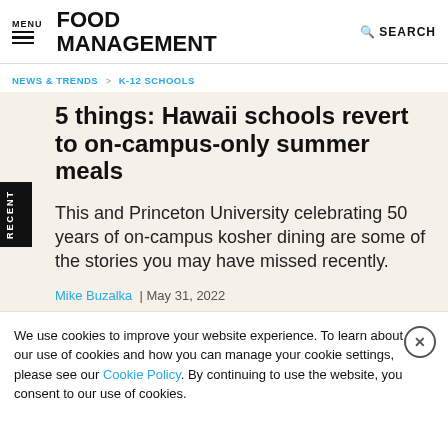MENU | FOOD MANAGEMENT | SEARCH
NEWS & TRENDS > K-12 SCHOOLS
5 things: Hawaii schools revert to on-campus-only summer meals
This and Princeton University celebrating 50 years of on-campus kosher dining are some of the stories you may have missed recently.
Mike Buzalka | May 31, 2022
We use cookies to improve your website experience. To learn about our use of cookies and how you can manage your cookie settings, please see our Cookie Policy. By continuing to use the website, you consent to our use of cookies.